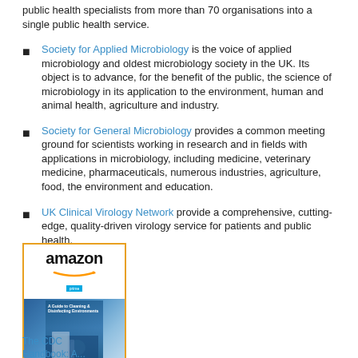public health specialists from more than 70 organisations into a single public health service.
Society for Applied Microbiology is the voice of applied microbiology and oldest microbiology society in the UK. Its object is to advance, for the benefit of the public, the science of microbiology in its application to the environment, human and animal health, agriculture and industry.
Society for General Microbiology provides a common meeting ground for scientists working in research and in fields with applications in microbiology, including medicine, veterinary medicine, pharmaceuticals, numerous industries, agriculture, food, the environment and education.
UK Clinical Virology Network provide a comprehensive, cutting-edge, quality-driven virology service for patients and public health.
[Figure (illustration): Amazon product listing box with orange border showing the Amazon logo with arrow, a book cover for 'The CDC Handbook: A...' with blue cover imagery]
The CDC Handbook: A...